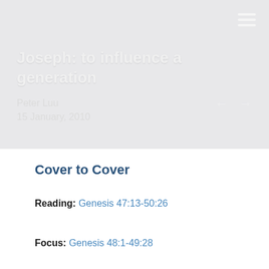Joseph: to influence a generation
Peter Luu
15 January, 2010
Cover to Cover
Reading: Genesis 47:13-50:26
Focus: Genesis 48:1-49:28